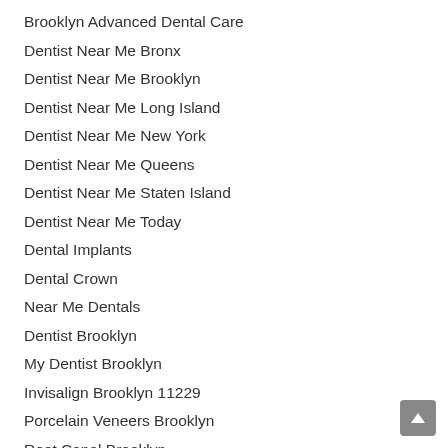Brooklyn Advanced Dental Care
Dentist Near Me Bronx
Dentist Near Me Brooklyn
Dentist Near Me Long Island
Dentist Near Me New York
Dentist Near Me Queens
Dentist Near Me Staten Island
Dentist Near Me Today
Dental Implants
Dental Crown
Near Me Dentals
Dentist Brooklyn
My Dentist Brooklyn
Invisalign Brooklyn 11229
Porcelain Veneers Brooklyn
Root Canal Brooklyn
Tooth Extraction Brooklyn
Tooth Implants Brooklyn
Teeth Whitening in Brooklyn